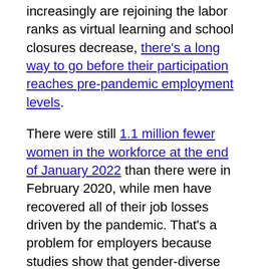increasingly are rejoining the labor ranks as virtual learning and school closures decrease, there's a long way to go before their participation reaches pre-pandemic employment levels.
There were still 1.1 million fewer women in the workforce at the end of January 2022 than there were in February 2020, while men have recovered all of their job losses driven by the pandemic. That's a problem for employers because studies show that gender-diverse teams – and, overall, companies themselves – outperform those weighted heavily toward one sex or the other.
One of the most effective ways to boost your bottom line, then, is to hire more women who bring highly desirable traits to their jobs, including collaboration and empathy. Women generally tend to be effective...